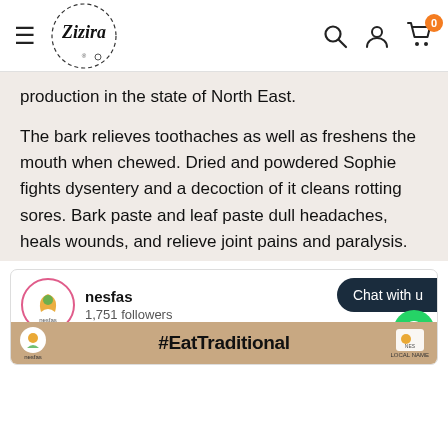Lizira — navigation header with hamburger menu, search, account, and cart (0 items)
production in the state of North East.
The bark relieves toothaches as well as freshens the mouth when chewed. Dried and powdered Sophie fights dysentery and a decoction of it cleans rotting sores. Bark paste and leaf paste dull headaches, heals wounds, and relieve joint pains and paralysis.
[Figure (screenshot): Nesfas Instagram/social widget showing nesfas account with 1,751 followers, Chat with us button, WhatsApp button, and #EatTraditional banner with LOCAL NAME label]